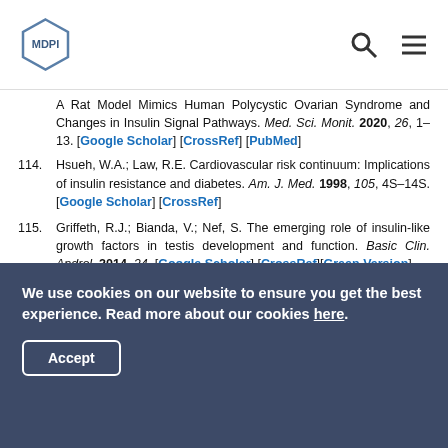MDPI
...A Rat Model Mimics Human Polycystic Ovarian Syndrome and Changes in Insulin Signal Pathways. Med. Sci. Monit. 2020, 26, 1–13. [Google Scholar] [CrossRef] [PubMed]
114. Hsueh, W.A.; Law, R.E. Cardiovascular risk continuum: Implications of insulin resistance and diabetes. Am. J. Med. 1998, 105, 4S–14S. [Google Scholar] [CrossRef]
115. Griffeth, R.J.; Bianda, V.; Nef, S. The emerging role of insulin-like growth factors in testis development and function. Basic Clin. Androl. 2014, 24. [Google Scholar] [CrossRef][Green Version]
116. Raikhowa, M.; Brett, S.; Cuthbertson, D.J.; Lipina, C.; ...
We use cookies on our website to ensure you get the best experience. Read more about our cookies here.
Accept